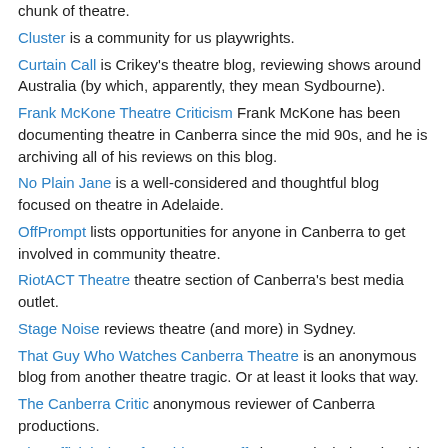chunk of theatre.
Cluster is a community for us playwrights.
Curtain Call is Crikey's theatre blog, reviewing shows around Australia (by which, apparently, they mean Sydbourne).
Frank McKone Theatre Criticism Frank McKone has been documenting theatre in Canberra since the mid 90s, and he is archiving all of his reviews on this blog.
No Plain Jane is a well-considered and thoughtful blog focused on theatre in Adelaide.
OffPrompt lists opportunities for anyone in Canberra to get involved in community theatre.
RiotACT Theatre theatre section of Canberra's best media outlet.
Stage Noise reviews theatre (and more) in Sydney.
That Guy Who Watches Canberra Theatre is an anonymous blog from another theatre tragic. Or at least it looks that way.
The Canberra Critic anonymous reviewer of Canberra productions.
The Official Blog of Lachlan T. Ruffy is a particularly enjoyable blog from a rather verbose member of Canberra's acting fraternity.
Theatre Notes is a thoughtful theatre blog by writer Alison Croggon, based in Melbourne.